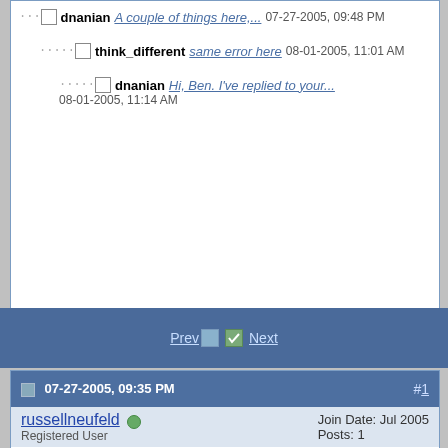dnanian A couple of things here,... 07-27-2005, 09:48 PM
think_different same error here 08-01-2005, 11:01 AM
dnanian Hi, Ben. I've replied to your... 08-01-2005, 11:14 AM
Prev | Next
07-27-2005, 09:35 PM #1
russellneufeld
Registered User
Join Date: Jul 2005
Posts: 1
Failing first backup
Hello,

I'm a former Carbon Copy Cloner user who recently upgraded to Tiger and now need a new backup solution. I'll happily pay for SuperDuper if it works for me, but so far I've been having trouble. I've tried twice now to clone my drive and both times it's failed. I'm trying to clone an internal 160GB drive to an external 160GB firewire drive. When I ran this latest attempt I had logged out and logged back in while holding down the shift key, so very little was running. Here's the output of the log. Please let me know if I'm doing anything wrong. Thanks in advance,